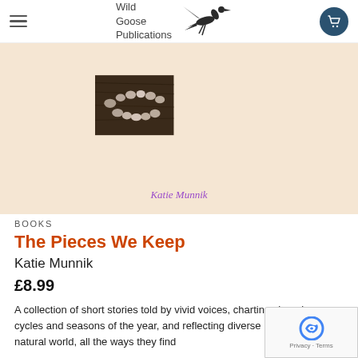Wild Goose Publications
[Figure (photo): Book cover for 'The Pieces We Keep' by Katie Munnik showing pebbles/stones arranged in a curved line on a dark wooden surface, with a beige/cream background. The author name 'Katie Munnik' appears in purple italic text below the photo.]
BOOKS
The Pieces We Keep
Katie Munnik
£8.99
A collection of short stories told by vivid voices, charting changing cycles and seasons of the year, and reflecting diverse patterns of the natural world, all the ways they find